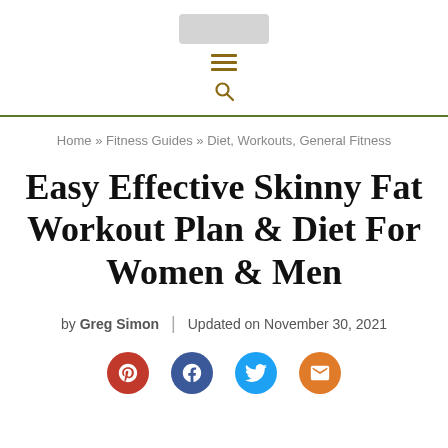[logo placeholder] [hamburger menu] [search icon] [green divider line]
Home » Fitness Guides » Diet, Workouts, General Fitness
Easy Effective Skinny Fat Workout Plan & Diet For Women & Men
by Greg Simon | Updated on November 30, 2021
[Figure (other): Social sharing icons: Pinterest (red), Facebook (blue), Twitter (light blue), Email (orange)]